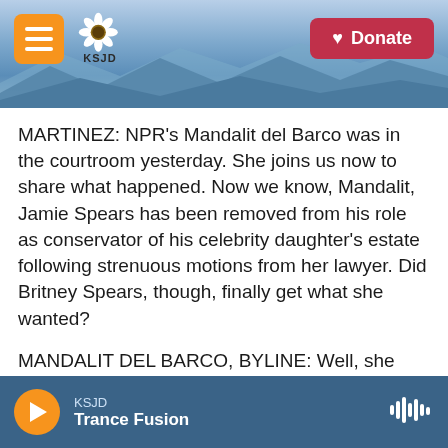[Figure (screenshot): KSJD radio website header with orange hamburger menu button, KSJD sunflower logo, blue mountain background, and red Donate button]
MARTINEZ: NPR's Mandalit del Barco was in the courtroom yesterday. She joins us now to share what happened. Now we know, Mandalit, Jamie Spears has been removed from his role as conservator of his celebrity daughter's estate following strenuous motions from her lawyer. Did Britney Spears, though, finally get what she wanted?
MANDALIT DEL BARCO, BYLINE: Well, she did. Britney Spears very much wanted her father out of her life, removed from being the conservator of her $60 million fortune. You know, that today was a hearing in...
[Figure (screenshot): KSJD audio player bar at bottom: orange play button, station name KSJD, show name Trance Fusion, waveform icon on right]